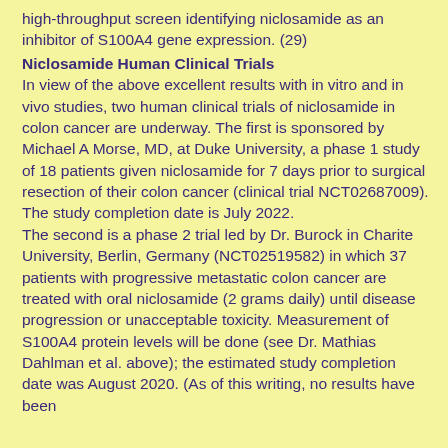high-throughput screen identifying niclosamide as an inhibitor of S100A4 gene expression. (29)
Niclosamide Human Clinical Trials
In view of the above excellent results with in vitro and in vivo studies, two human clinical trials of niclosamide in colon cancer are underway. The first is sponsored by Michael A Morse, MD, at Duke University, a phase 1 study of 18 patients given niclosamide for 7 days prior to surgical resection of their colon cancer (clinical trial NCT02687009). The study completion date is July 2022. The second is a phase 2 trial led by Dr. Burock in Charite University, Berlin, Germany (NCT02519582) in which 37 patients with progressive metastatic colon cancer are treated with oral niclosamide (2 grams daily) until disease progression or unacceptable toxicity. Measurement of S100A4 protein levels will be done (see Dr. Mathias Dahlman et al. above); the estimated study completion date was August 2020. (As of this writing, no results have been